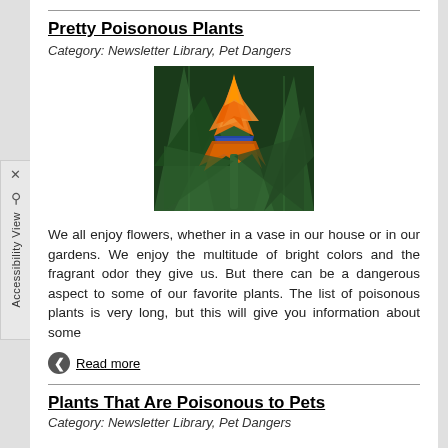Pretty Poisonous Plants
Category: Newsletter Library, Pet Dangers
[Figure (photo): Close-up photograph of a Bird of Paradise flower with vivid orange and blue petals against dark green leaves.]
We all enjoy flowers, whether in a vase in our house or in our gardens. We enjoy the multitude of bright colors and the fragrant odor they give us. But there can be a dangerous aspect to some of our favorite plants. The list of poisonous plants is very long, but this will give you information about some
Read more
Plants That Are Poisonous to Pets
Category: Newsletter Library, Pet Dangers